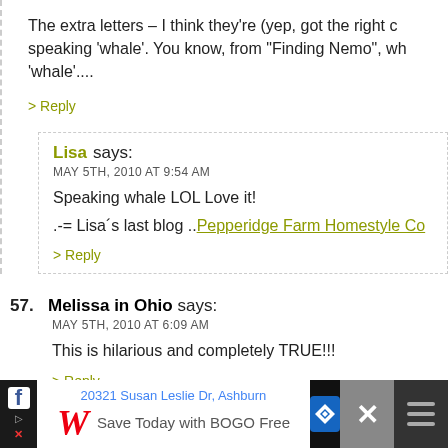The extra letters – I think they're (yep, got the right c... speaking 'whale'. You know, from "Finding Nemo", wh... 'whale'....
> Reply
Lisa says:
MAY 5TH, 2010 AT 9:54 AM
Speaking whale LOL Love it!
.-= Lisa´s last blog ..Pepperidge Farm Homestyle Co...
> Reply
57. Melissa in Ohio says:
MAY 5TH, 2010 AT 6:09 AM
This is hilarious and completely TRUE!!!
> Reply
58. Heather says:
Ad: 20321 Susan Leslie Dr, Ashburn — Save Today with BOGO Free